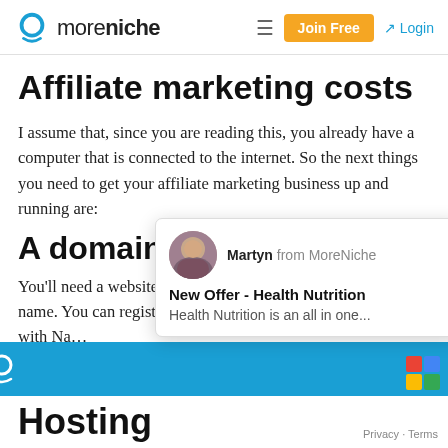moreniche — Join Free  Login
Affiliate marketing costs
I assume that, since you are reading this, you already have a computer that is connected to the internet. So the next things you need to get your affiliate marketing business up and running are:
A domain na…
[Figure (other): Notification popup from Martyn from MoreNiche: New Offer - Health Nutrition. Health Nutrition is an all in one...]
You'll need a website … name. You can register a domain name with Na…
[Figure (other): Blue notification/chat bar with MoreNiche branding icon at bottom of page]
Hosting